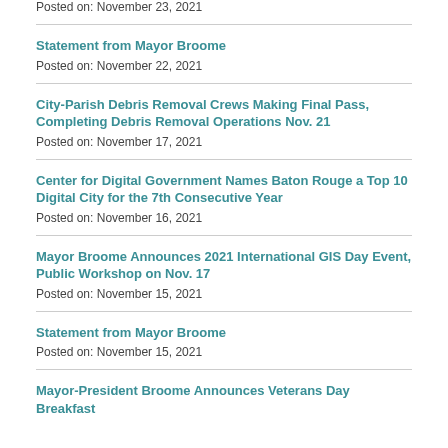Posted on: November 23, 2021
Statement from Mayor Broome
Posted on: November 22, 2021
City-Parish Debris Removal Crews Making Final Pass, Completing Debris Removal Operations Nov. 21
Posted on: November 17, 2021
Center for Digital Government Names Baton Rouge a Top 10 Digital City for the 7th Consecutive Year
Posted on: November 16, 2021
Mayor Broome Announces 2021 International GIS Day Event, Public Workshop on Nov. 17
Posted on: November 15, 2021
Statement from Mayor Broome
Posted on: November 15, 2021
Mayor-President Broome Announces Veterans Day Breakfast